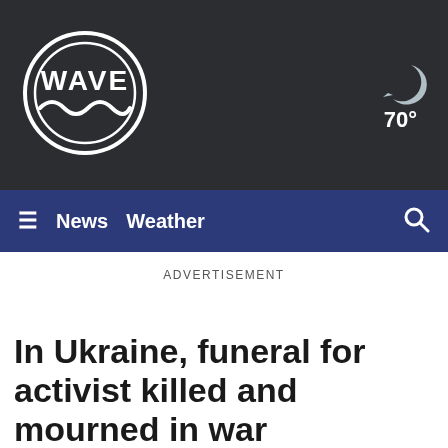[Figure (logo): WAVE TV station circular logo in white on dark background]
[Figure (illustration): Night/moon weather icon showing 70 degrees]
≡  News  Weather  🔍
ADVERTISEMENT
In Ukraine, funeral for activist killed and mourned in war
[Figure (screenshot): Black video player area showing MUXER ERROR: NO SUPPORTED STREA...]